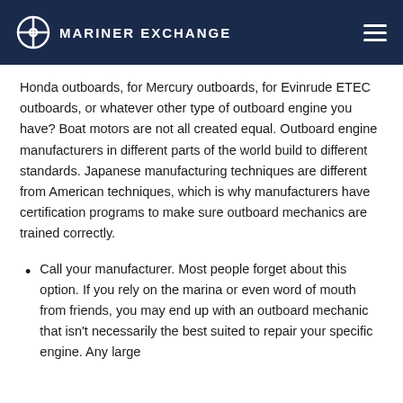MARINER EXCHANGE
Honda outboards, for Mercury outboards, for Evinrude ETEC outboards, or whatever other type of outboard engine you have? Boat motors are not all created equal. Outboard engine manufacturers in different parts of the world build to different standards. Japanese manufacturing techniques are different from American techniques, which is why manufacturers have certification programs to make sure outboard mechanics are trained correctly.
Call your manufacturer. Most people forget about this option. If you rely on the marina or even word of mouth from friends, you may end up with an outboard mechanic that isn't necessarily the best suited to repair your specific engine. Any large